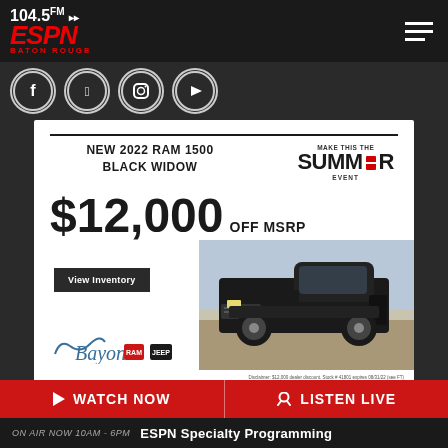104.5 FM ESPN Baton Rouge
[Figure (logo): 104.5 FM ESPN Baton Rouge radio station logo in red and white on dark background]
[Figure (infographic): Social media icons: Facebook, Twitter, Instagram, YouTube in circular outlines]
[Figure (infographic): Advertisement for New 2022 RAM 1500 Black Widow - $12,000 OFF MSRP - Summer Event - Bayon Chrysler Dodge Jeep RAM dealer ad with truck photo and View Inventory button]
WATCH NOW
LISTEN LIVE
ON AIR NOW 10AM - 6PM  ESPN Specialty Programming